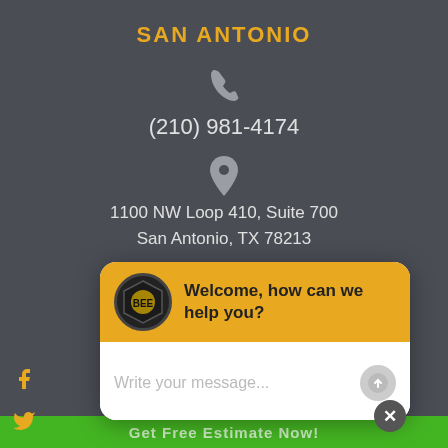SAN ANTONIO
[Figure (illustration): Phone handset icon in grey]
(210) 981-4174
[Figure (illustration): Map pin / location icon in grey]
1100 NW Loop 410, Suite 700
San Antonio, TX 78213
HOUSTON
[Figure (illustration): Phone handset icon in grey]
[Figure (screenshot): Chat widget popup with yellow header showing a logo and 'Welcome, how can we help you?' and a white message input area with placeholder 'Write your message...']
[Figure (illustration): Social media icons on left: Facebook, Twitter, LinkedIn, WhatsApp, and a bookmark/flag icon]
Get Free Estimate Now!